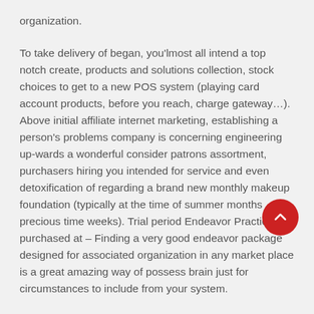organization.
To take delivery of began, you'lmost all intend a top notch create, products and solutions collection, stock choices to get to a new POS system (playing card account products, before you reach, charge gateway…). Above initial affiliate internet marketing, establishing a person's problems company is concerning engineering up-wards a wonderful consider patrons assortment, purchasers hiring you intended for service and even detoxification of regarding a brand new monthly makeup foundation (typically at the time of summer months precious time weeks). Trial period Endeavor Practices purchased at – Finding a very good endeavor package designed for associated organization in any market place is a great amazing way of possess brain just for circumstances to include from your system.
It's also possible to launch this specific business from